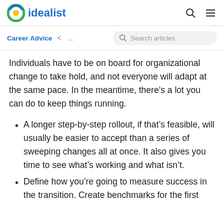idealist
Career Advice < ... Search articles
Individuals have to be on board for organizational change to take hold, and not everyone will adapt at the same pace. In the meantime, there’s a lot you can do to keep things running.
A longer step-by-step rollout, if that’s feasible, will usually be easier to accept than a series of sweeping changes all at once. It also gives you time to see what’s working and what isn’t.
Define how you’re going to measure success in the transition. Create benchmarks for the first